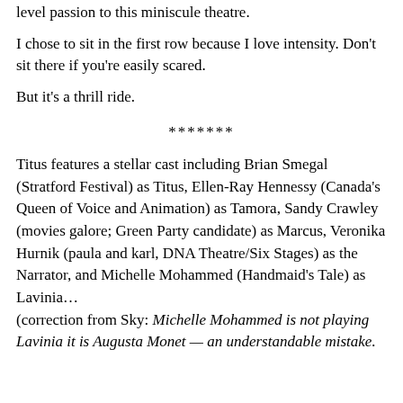level passion to this miniscule theatre.
I chose to sit in the first row because I love intensity. Don't sit there if you're easily scared.
But it's a thrill ride.
*******
Titus features a stellar cast including Brian Smegal (Stratford Festival) as Titus, Ellen-Ray Hennessy (Canada's Queen of Voice and Animation) as Tamora, Sandy Crawley (movies galore; Green Party candidate) as Marcus, Veronika Hurnik (paula and karl, DNA Theatre/Six Stages) as the Narrator, and Michelle Mohammed (Handmaid's Tale) as Lavinia…
(correction from Sky: Michelle Mohammed is not playing Lavinia it is Augusta Monet — an understandable mistake.